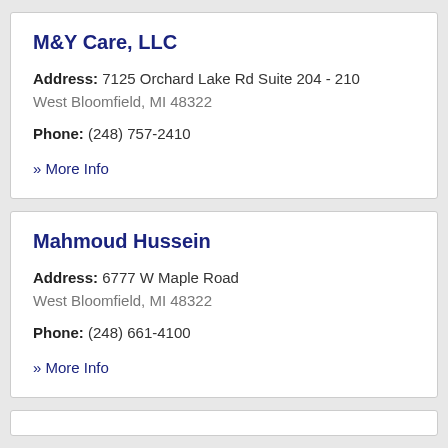M&Y Care, LLC
Address: 7125 Orchard Lake Rd Suite 204 - 210
West Bloomfield, MI 48322
Phone: (248) 757-2410
» More Info
Mahmoud Hussein
Address: 6777 W Maple Road
West Bloomfield, MI 48322
Phone: (248) 661-4100
» More Info